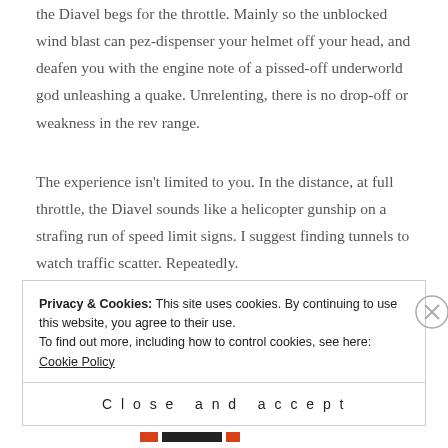the Diavel begs for the throttle. Mainly so the unblocked wind blast can pez-dispenser your helmet off your head, and deafen you with the engine note of a pissed-off underworld god unleashing a quake. Unrelenting, there is no drop-off or weakness in the rev range.
The experience isn't limited to you. In the distance, at full throttle, the Diavel sounds like a helicopter gunship on a strafing run of speed limit signs. I suggest finding tunnels to watch traffic scatter. Repeatedly.
Privacy & Cookies: This site uses cookies. By continuing to use this website, you agree to their use. To find out more, including how to control cookies, see here: Cookie Policy
Close and accept